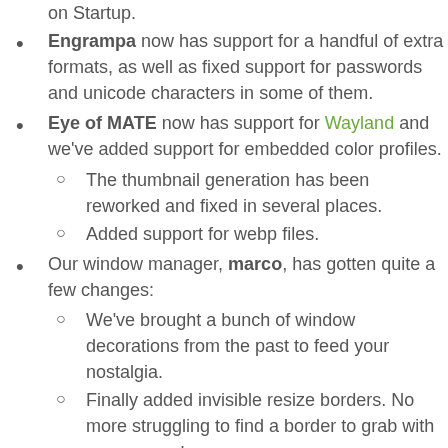on Startup.
Engrampa now has support for a handful of extra formats, as well as fixed support for passwords and unicode characters in some of them.
Eye of MATE now has support for Wayland and we've added support for embedded color profiles.
The thumbnail generation has been reworked and fixed in several places.
Added support for webp files.
Our window manager, marco, has gotten quite a few changes:
We've brought a bunch of window decorations from the past to feed your nostalgia.
Finally added invisible resize borders. No more struggling to find a border to grab with your mouse!